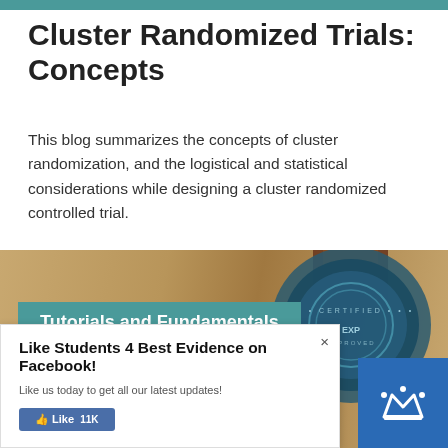Cluster Randomized Trials: Concepts
This blog summarizes the concepts of cluster randomization, and the logistical and statistical considerations while designing a cluster randomized controlled trial.
[Figure (photo): Photo of a wax/rubber stamp on kraft paper background with a teal banner reading 'Tutorials and Fundamentals']
Like Students 4 Best Evidence on Facebook!
Like us today to get all our latest updates!
Like 11K